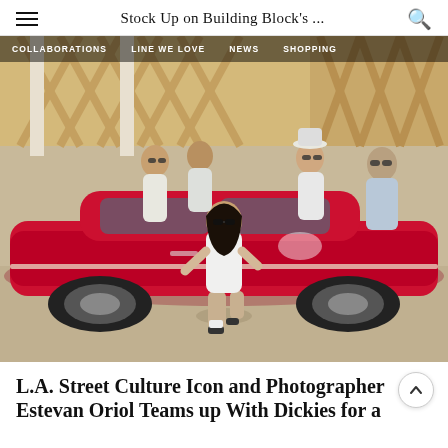Stock Up on Building Block's ...
[Figure (photo): Navigation bar with categories: COLLABORATIONS, LINE WE LOVE, NEWS, SHOPPING overlaid on a photo of a woman crouching in front of a red lowrider car, with other people standing in the background.]
L.A. Street Culture Icon and Photographer Estevan Oriol Teams up With Dickies for a